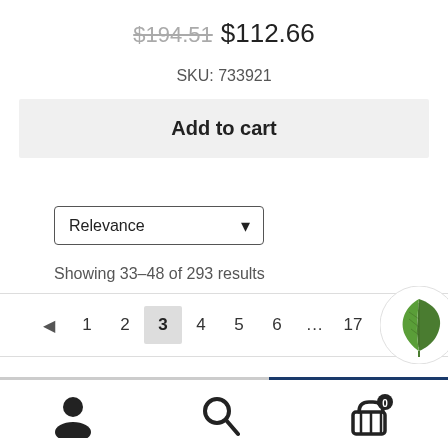$194.51  $112.66
SKU: 733921
Add to cart
Relevance
Showing 33–48 of 293 results
◄  1  2  3  4  5  6  ...  17  18
[Figure (logo): Green leaf logo in a white circle]
[Figure (infographic): Bottom navigation bar with user profile, search, and cart icons]